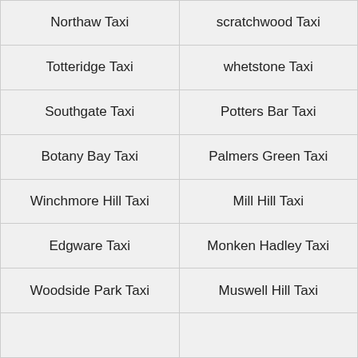| Northaw Taxi | scratchwood Taxi |
| Totteridge Taxi | whetstone Taxi |
| Southgate Taxi | Potters Bar Taxi |
| Botany Bay Taxi | Palmers Green Taxi |
| Winchmore Hill Taxi | Mill Hill Taxi |
| Edgware Taxi | Monken Hadley Taxi |
| Woodside Park Taxi | Muswell Hill Taxi |
|  |  |